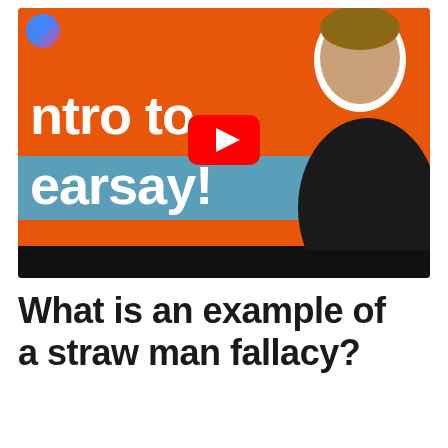[Figure (screenshot): YouTube video thumbnail showing an orange background with white bold text 'Intro to' and 'hearsay!' on a teal bar, a YouTube play button in the center, and a smiling man in a black sweater with arms crossed on the right side.]
What is an example of a straw man fallacy?